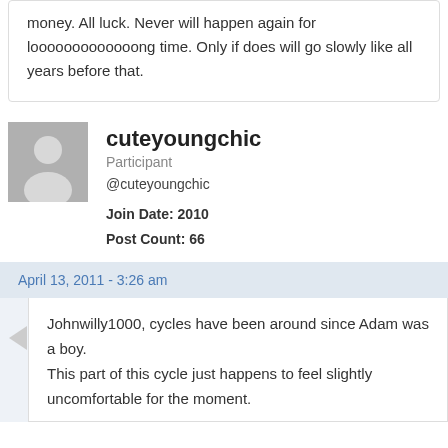money. All luck. Never will happen again for looooooooooooong time. Only if does will go slowly like all years before that.
cuteyoungchic
Participant
@cuteyoungchic
Join Date: 2010
Post Count: 66
April 13, 2011 - 3:26 am
Johnwilly1000, cycles have been around since Adam was a boy.
This part of this cycle just happens to feel slightly uncomfortable for the moment.